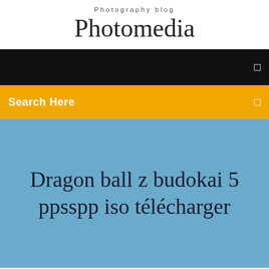Photography blog
Photomedia
[Figure (screenshot): Black navigation bar with a small white square/hamburger icon on the right side]
Search Here
Dragon ball z budokai 5 ppsspp iso télécharger